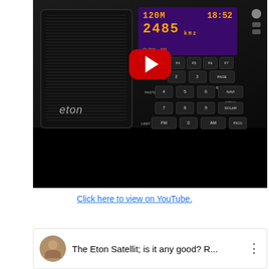[Figure (screenshot): YouTube video thumbnail showing an Eton Satellit shortwave radio with display showing 120M band, 2485 kHz frequency, time 18:52. A red YouTube play button overlay is centered on the image. Below the radio image is a black bar area.]
Click here to view on YouTube.
[Figure (screenshot): YouTube video card showing a circular avatar photo of a man and the title 'The Eton Satellit; is it any good? R...' with a three-dot menu icon on the right.]